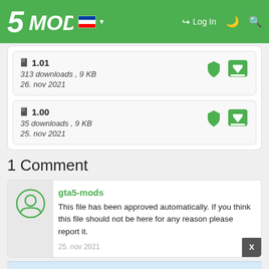5MODS | Log In
1.01 — 313 downloads , 9 KB — 26. nov 2021
1.00 — 35 downloads , 9 KB — 25. nov 2021
1 Comment
gta5-mods
This file has been approved automatically. If you think this file should not be here for any reason please report it.
25. nov 2021
Join the conversation! Log In or register for an account to be able to comment.